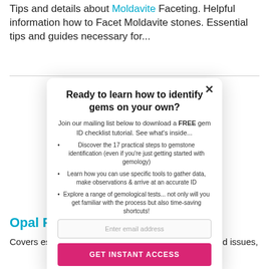Tips and details about Moldavite Faceting. Helpful information how to Facet Moldavite stones. Essential tips and guides necessary for...
Opal Fa...
Covers ess... ted issues, research, t... ose what best fits th...
[Figure (screenshot): Modal popup: 'Ready to learn how to identify gems on your own?' with email signup form, bullet points about gemstone identification steps, and a 'GET INSTANT ACCESS' button.]